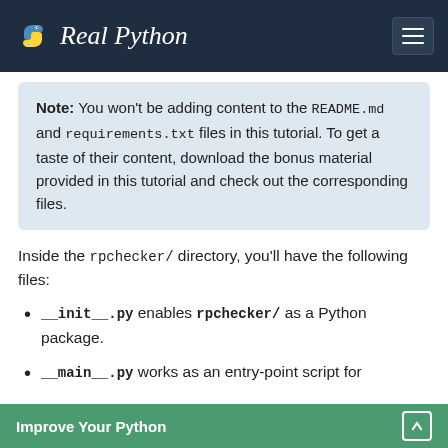Real Python
Note: You won't be adding content to the README.md and requirements.txt files in this tutorial. To get a taste of their content, download the bonus material provided in this tutorial and check out the corresponding files.
Inside the rpchecker/ directory, you'll have the following files:
__init__.py enables rpchecker/ as a Python package.
__main__.py works as an entry-point script for
Improve Your Python